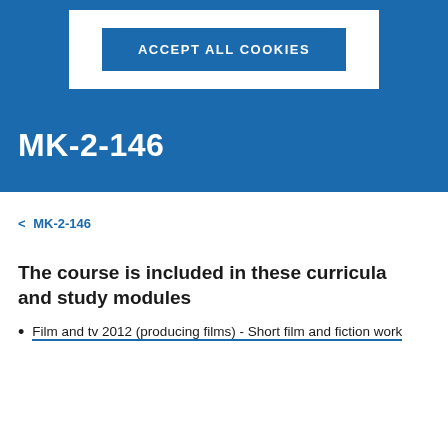[Figure (screenshot): Blue cookie consent banner with white modal box containing a blue 'ACCEPT ALL COOKIES' button]
MK-2-146
< MK-2-146
The course is included in these curricula and study modules
Film and tv 2012 (producing films) - Short film and fiction work